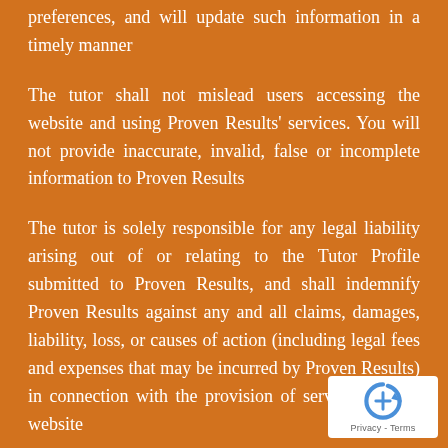preferences, and will update such information in a timely manner
The tutor shall not mislead users accessing the website and using Proven Results' services. You will not provide inaccurate, invalid, false or incomplete information to Proven Results
The tutor is solely responsible for any legal liability arising out of or relating to the Tutor Profile submitted to Proven Results, and shall indemnify Proven Results against any and all claims, damages, liability, loss, or causes of action (including legal fees and expenses that may be incurred by Proven Results) in connection with the provision of services by this website